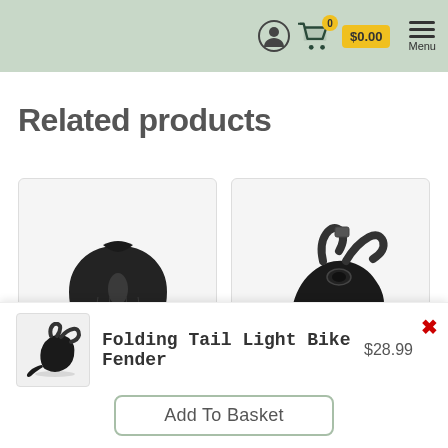$0.00 Menu
Related products
[Figure (photo): Black bicycle saddle with diamond-pattern padding and center cutout]
[Figure (photo): Black folding tail light bike fender with straps]
[Figure (photo): Small thumbnail of folding tail light bike fender]
Folding Tail Light Bike Fender  $28.99
Add To Basket